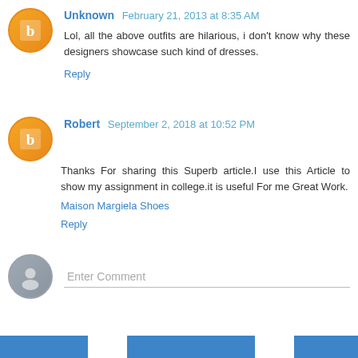Unknown February 21, 2013 at 8:35 AM
Lol, all the above outfits are hilarious, i don't know why these designers showcase such kind of dresses.
Reply
Robert September 2, 2018 at 10:52 PM
Thanks For sharing this Superb article.I use this Article to show my assignment in college.it is useful For me Great Work.
Maison Margiela Shoes
Reply
Enter Comment